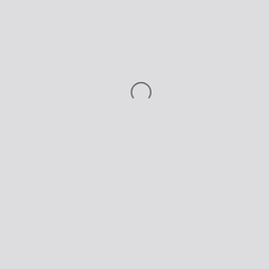[Figure (other): Loading spinner — a partial arc (top half of a circle) in dark gray, indicating a loading state on a light gray background.]
[Figure (other): Judge.me Reviews vertical pill-shaped button in dark charcoal color with a star icon and the text 'JUDGE.ME REVIEWS' rotated 90 degrees, positioned on the right edge of the page.]